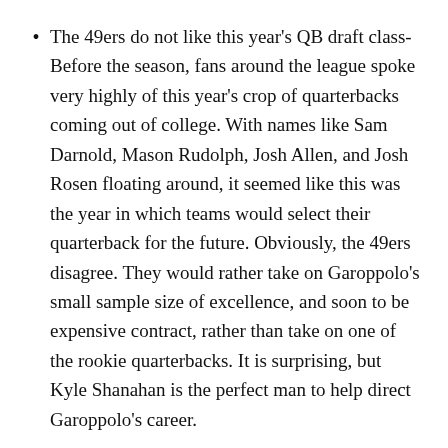The 49ers do not like this year's QB draft class- Before the season, fans around the league spoke very highly of this year's crop of quarterbacks coming out of college. With names like Sam Darnold, Mason Rudolph, Josh Allen, and Josh Rosen floating around, it seemed like this was the year in which teams would select their quarterback for the future. Obviously, the 49ers disagree. They would rather take on Garoppolo's small sample size of excellence, and soon to be expensive contract, rather than take on one of the rookie quarterbacks. It is surprising, but Kyle Shanahan is the perfect man to help direct Garoppolo's career.
Belichick loves his second round picks- To most